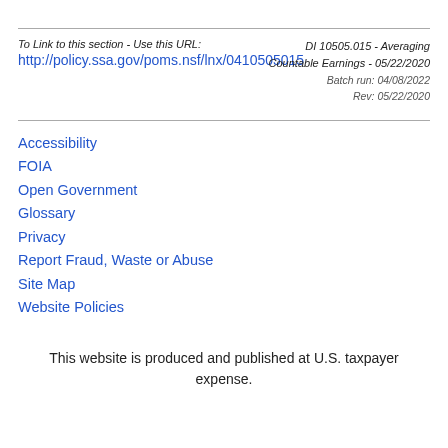To Link to this section - Use this URL:
http://policy.ssa.gov/poms.nsf/lnx/0410505015
DI 10505.015 - Averaging Countable Earnings - 05/22/2020
Batch run: 04/08/2022
Rev: 05/22/2020
Accessibility
FOIA
Open Government
Glossary
Privacy
Report Fraud, Waste or Abuse
Site Map
Website Policies
This website is produced and published at U.S. taxpayer expense.